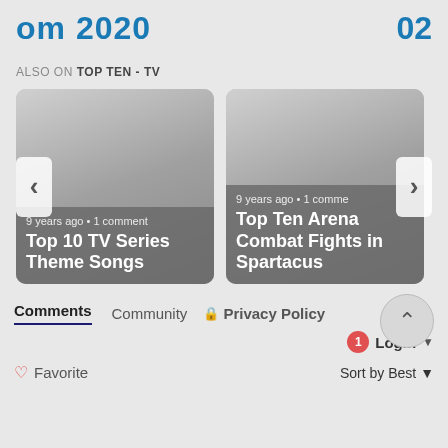om 2020   02
ALSO ON TOP TEN - TV
[Figure (screenshot): Card showing Top 10 TV Series Theme Songs, 9 years ago, 1 comment]
[Figure (screenshot): Card showing Top Ten Arena Combat Fights in Spartacus, 9 years ago, 1 comment]
Comments   Community   Privacy Policy
Login
Favorite   Sort by Best